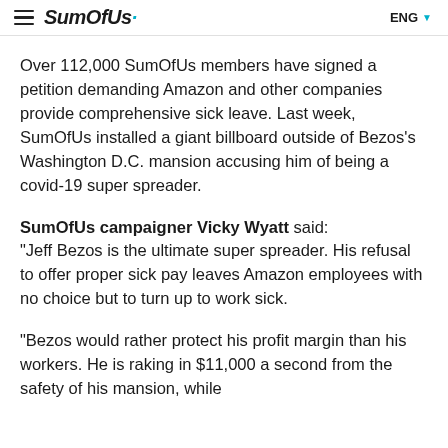SumOfUs ENG
Over 112,000 SumOfUs members have signed a petition demanding Amazon and other companies provide comprehensive sick leave. Last week, SumOfUs installed a giant billboard outside of Bezos's Washington D.C. mansion accusing him of being a covid-19 super spreader.
SumOfUs campaigner Vicky Wyatt said: “Jeff Bezos is the ultimate super spreader. His refusal to offer proper sick pay leaves Amazon employees with no choice but to turn up to work sick.
“Bezos would rather protect his profit margin than his workers. He is raking in $11,000 a second from the safety of his mansion, while